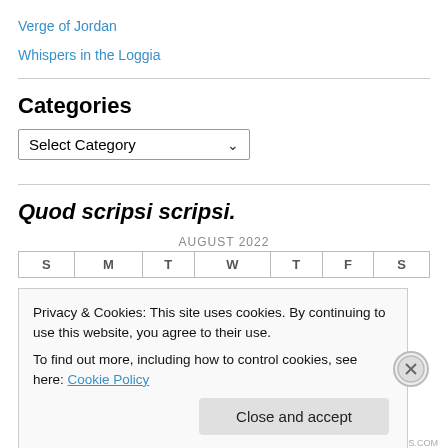Verge of Jordan
Whispers in the Loggia
Categories
Select Category
Quod scripsi scripsi.
| S | M | T | W | T | F | S |
| --- | --- | --- | --- | --- | --- | --- |
Privacy & Cookies: This site uses cookies. By continuing to use this website, you agree to their use.
To find out more, including how to control cookies, see here: Cookie Policy
Close and accept